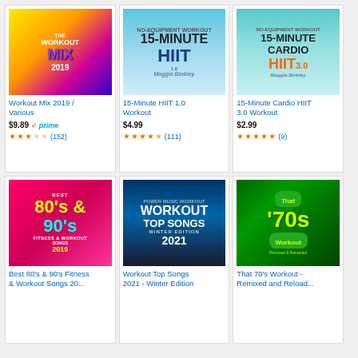[Figure (illustration): Workout Mix 2019 album cover - colorful gradient with yellow, orange, pink, purple tones]
Workout Mix 2019 / Various
$9.89 prime
★★★☆☆ (152)
[Figure (illustration): 15-Minute HIIT 1.0 Workout book cover - light blue sky background with jumping person]
15-Minute HIIT 1.0 Workout
$4.99
★★★★½ (111)
[Figure (illustration): 15-Minute Cardio HIIT 3.0 Workout book cover - teal background with person jumping]
15-Minute Cardio HIIT 3.0 Workout
$2.99
★★★★★ (9)
[Figure (illustration): Best 80s & 90s Fitness & Workout Songs 2019 album cover - pink/magenta background]
Best 80's & 90's Fitness & Workout Songs 20...
[Figure (illustration): Workout Top Songs 2021 Winter Edition album cover - dark blue background with silhouette]
Workout Top Songs 2021 - Winter Edition
[Figure (illustration): That 70s Workout - Remixed and Reloaded album cover - dark green background with yellow-green text]
That 70's Workout - Remixed and Reload...